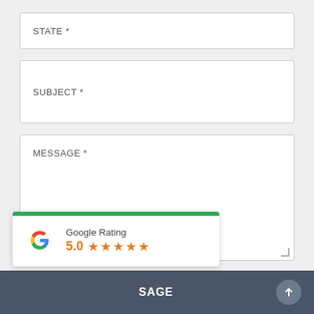STATE *
SUBJECT *
MESSAGE *
[Figure (infographic): Google Rating widget with green top bar, Google G logo, label 'Google Rating', score '5.0' and five orange stars]
SAGE